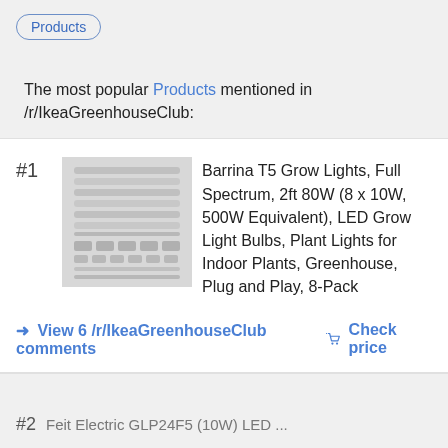Products
The most popular Products mentioned in /r/IkeaGreenhouseClub:
#1 Barrina T5 Grow Lights, Full Spectrum, 2ft 80W (8 x 10W, 500W Equivalent), LED Grow Light Bulbs, Plant Lights for Indoor Plants, Greenhouse, Plug and Play, 8-Pack
→ View 6 /r/IkeaGreenhouseClub comments
🏷 Check price
#2 Feit Electric GLP24F5 (10W) LED ...